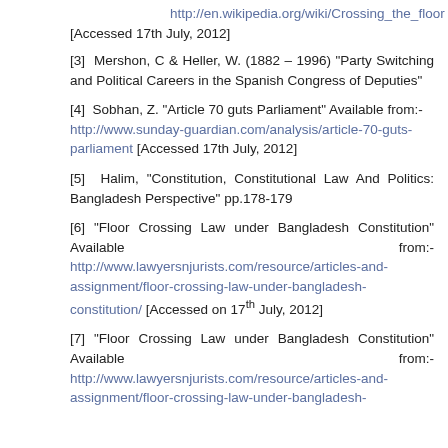http://en.wikipedia.org/wiki/Crossing_the_floor [Accessed 17th July, 2012]
[3] Mershon, C & Heller, W. (1882 – 1996) "Party Switching and Political Careers in the Spanish Congress of Deputies"
[4] Sobhan, Z. "Article 70 guts Parliament" Available from:- http://www.sunday-guardian.com/analysis/article-70-guts-parliament [Accessed 17th July, 2012]
[5] Halim, "Constitution, Constitutional Law And Politics: Bangladesh Perspective" pp.178-179
[6] "Floor Crossing Law under Bangladesh Constitution" Available from:- http://www.lawyersnjurists.com/resource/articles-and-assignment/floor-crossing-law-under-bangladesh-constitution/ [Accessed on 17th July, 2012]
[7] "Floor Crossing Law under Bangladesh Constitution" Available from:- http://www.lawyersnjurists.com/resource/articles-and-assignment/floor-crossing-bangladesh-